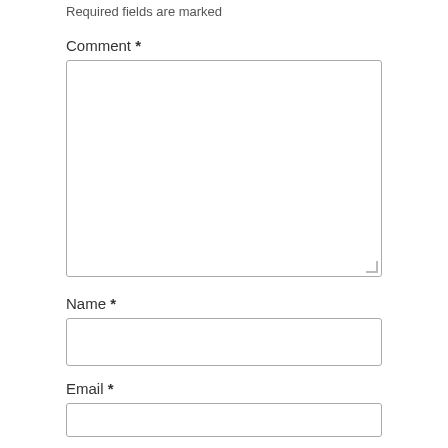Required fields are marked
Comment *
Name *
Email *